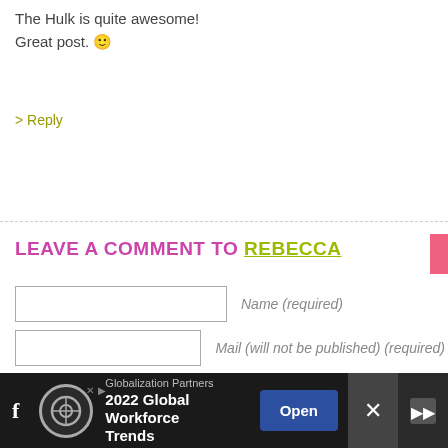The Hulk is quite awesome!
Great post. :-
> Reply
LEAVE A COMMENT TO REBECCA
Name (required)
Mail (will not be published) (required)
Website
[Figure (screenshot): Advertisement bar at bottom: Globalization Partners - 2022 Global Workforce Trends - Open button]